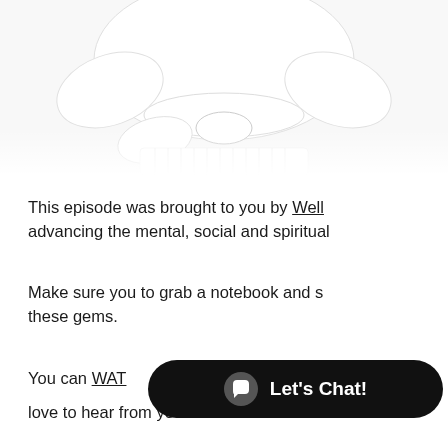[Figure (photo): Person wearing a white robe or kimono with a white belt, torso and lower body visible, white pleated skirt or pants visible below, cropped at top showing no face.]
This episode was brought to you by Well advancing the mental, social and spiritual
Make sure you to grab a notebook and s these gems.
You can WATC oo love to hear from you.